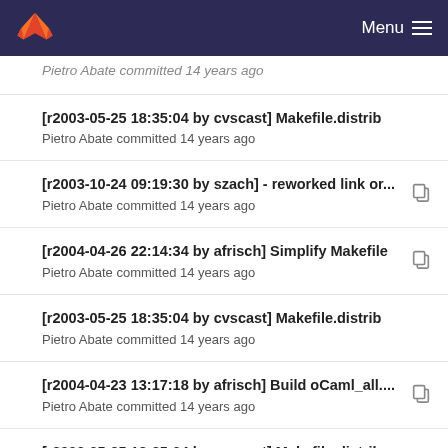GitLab — Menu
[r2003-05-25 18:35:04 by cvscast] Makefile.distrib
Pietro Abate committed 14 years ago
[r2003-10-24 09:19:30 by szach] - reworked link or...
Pietro Abate committed 14 years ago
[r2004-04-26 22:14:34 by afrisch] Simplify Makefile
Pietro Abate committed 14 years ago
[r2003-05-25 18:35:04 by cvscast] Makefile.distrib
Pietro Abate committed 14 years ago
[r2004-04-23 13:17:18 by afrisch] Build oCaml_all....
Pietro Abate committed 14 years ago
[r2003-05-25 18:35:04 by cvscast] Makefile.distrib
Pietro Abate committed 14 years ago
[r2004-06-29 23:06:06 by afrisch] Cleanup. Remov...
Pietro Abate committed 14 years ago
[r2003-05-28 21:16:42 by cvscast] bug find sans p...